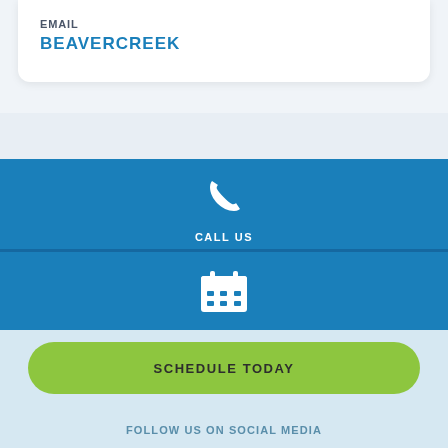EMAIL
BEAVERCREEK
[Figure (illustration): White phone handset icon on blue background with label CALL US]
[Figure (illustration): White calendar icon on blue background]
SCHEDULE TODAY
FOLLOW US ON SOCIAL MEDIA